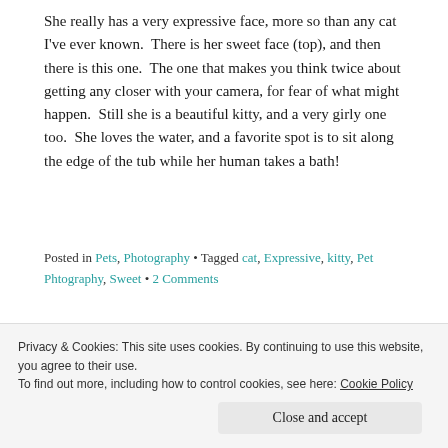She really has a very expressive face, more so than any cat I've ever known.  There is her sweet face (top), and then there is this one.  The one that makes you think twice about getting any closer with your camera, for fear of what might happen.  Still she is a beautiful kitty, and a very girly one too.  She loves the water, and a favorite spot is to sit along the edge of the tub while her human takes a bath!
Posted in Pets, Photography • Tagged cat, Expressive, kitty, Pet Phtography, Sweet • 2 Comments
Privacy & Cookies: This site uses cookies. By continuing to use this website, you agree to their use.
To find out more, including how to control cookies, see here: Cookie Policy